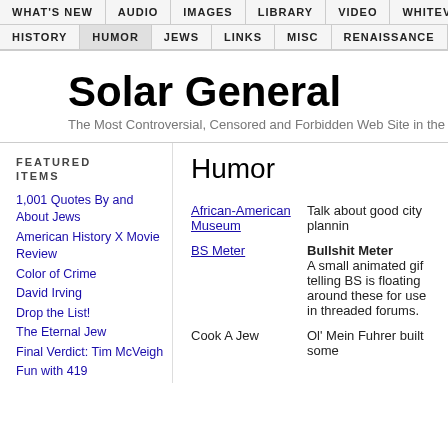WHAT'S NEW | AUDIO | IMAGES | LIBRARY | VIDEO | WHITEVE | HISTORY | HUMOR | JEWS | LINKS | MISC | RENAISSANCE
Solar General
The Most Controversial, Censored and Forbidden Web Site in the
FEATURED ITEMS
1,001 Quotes By and About Jews
American History X Movie Review
Color of Crime
David Irving
Drop the List!
The Eternal Jew
Final Verdict: Tim McVeigh
Fun with 419
Humor
African-American Museum — Talk about good city plannin
BS Meter — Bullshit Meter — A small animated gif telling BS is floating around these for use in threaded forums.
Cook A Jew — Ol' Mein Fuhrer built some